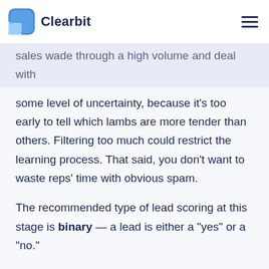Clearbit
sales wade through a high volume and deal with some level of uncertainty, because it's too early to tell which lambs are more tender than others. Filtering too much could restrict the learning process. That said, you don't want to waste reps' time with obvious spam.
The recommended type of lead scoring at this stage is binary — a lead is either a "yes" or a "no."
Very basic fit points drive this: